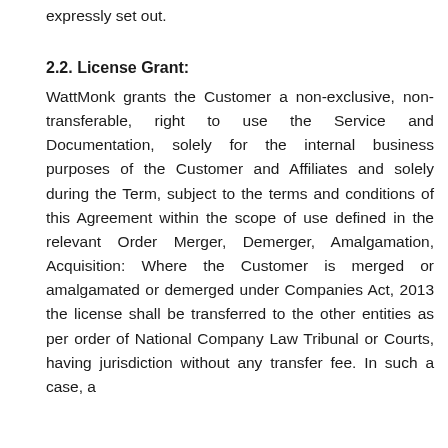expressly set out.
2.2. License Grant:
WattMonk grants the Customer a non-exclusive, non-transferable, right to use the Service and Documentation, solely for the internal business purposes of the Customer and Affiliates and solely during the Term, subject to the terms and conditions of this Agreement within the scope of use defined in the relevant Order Merger, Demerger, Amalgamation, Acquisition: Where the Customer is merged or amalgamated or demerged under Companies Act, 2013 the license shall be transferred to the other entities as per order of National Company Law Tribunal or Courts, having jurisdiction without any transfer fee. In such a case, a